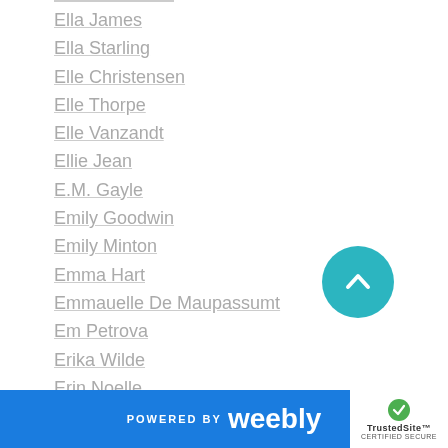Ella James
Ella Starling
Elle Christensen
Elle Thorpe
Elle Vanzandt
Ellie Jean
E.M. Gayle
Emily Goodwin
Emily Minton
Emma Hart
Emmauelle De Maupassumt
Em Petrova
Erika Wilde
Erin Noelle
Esther E Schmidt
Eva Charles
Evan Grace
[Figure (other): Teal circular scroll-to-top button with upward chevron arrow]
POWERED BY weebly  TrustedSite CERTIFIED SECURE